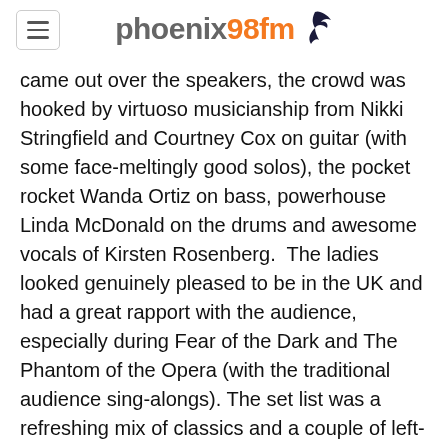phoenix98fm
came out over the speakers, the crowd was hooked by virtuoso musicianship from Nikki Stringfield and Courtney Cox on guitar (with some face-meltingly good solos), the pocket rocket Wanda Ortiz on bass, powerhouse Linda McDonald on the drums and awesome vocals of Kirsten Rosenberg.  The ladies looked genuinely pleased to be in the UK and had a great rapport with the audience, especially during Fear of the Dark and The Phantom of the Opera (with the traditional audience sing-alongs). The set list was a refreshing mix of classics and a couple of left-field numbers, and had you wondering what they would come up with next.